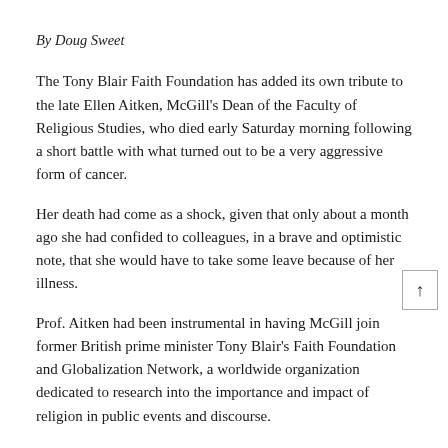By Doug Sweet
The Tony Blair Faith Foundation has added its own tribute to the late Ellen Aitken, McGill’s Dean of the Faculty of Religious Studies, who died early Saturday morning following a short battle with what turned out to be a very aggressive form of cancer.
Her death had come as a shock, given that only about a month ago she had confided to colleagues, in a brave and optimistic note, that she would have to take some leave because of her illness.
Prof. Aitken had been instrumental in having McGill join former British prime minister Tony Blair’s Faith Foundation and Globalization Network, a worldwide organization dedicated to research into the importance and impact of religion in public events and discourse.
“Ellen was an outstanding academic but also a lovely, warm and generous spirited person with a huge heart as well as an exceptional mind,” Blair said. “We enjoyed immensely our